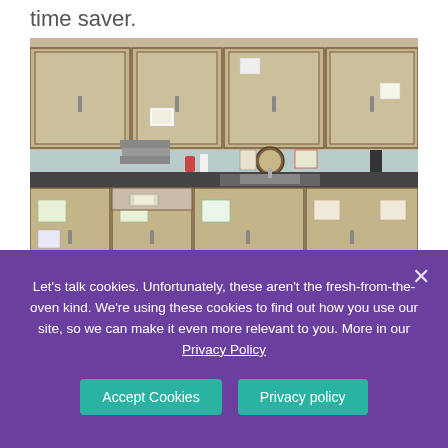time saver.
[Figure (photo): Classroom kitchen area with labeled cabinets and drawers. Text overlay reads 'Label Everything' on a green banner. Logo in bottom left reads 'Autism Classroom News & Resources'.]
Let's talk cookies. Unfortunately, these aren't the fresh-from-the-oven kind. We're using these cookies to find out how you use our site, so we can make it even more relevant to you. More in our Privacy Policy
Accept Cookies
Privacy policy